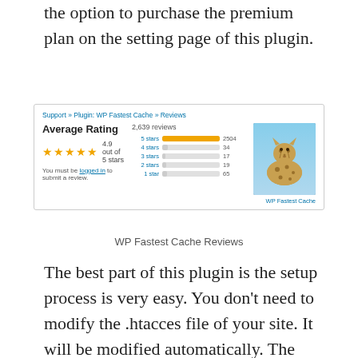the option to purchase the premium plan on the setting page of this plugin.
[Figure (screenshot): WordPress plugin review page for WP Fastest Cache showing Average Rating of 4.9 out of 5 stars with 2,639 reviews. Bar chart shows: 5 stars 2504, 4 stars 34, 3 stars 17, 2 stars 19, 1 star 65. Includes cheetah image and WP Fastest Cache label.]
WP Fastest Cache Reviews
The best part of this plugin is the setup process is very easy. You don't need to modify the .htacces file of your site. It will be modified automatically. The setting page is also very simple and just a list of checkboxes with information about each setting. CDN and SSL support are also available.